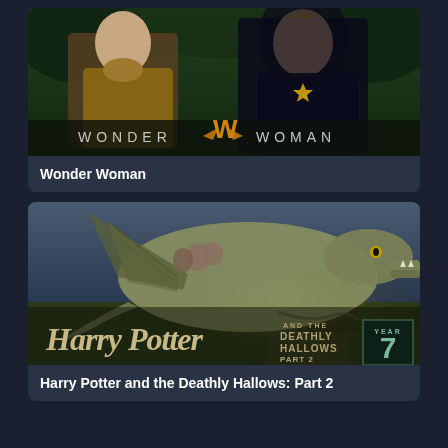[Figure (photo): Movie poster card for Wonder Woman showing two figures in a forest setting with the Wonder Woman logo at the bottom]
Wonder Woman
[Figure (photo): Movie poster card for Harry Potter and the Deathly Hallows Part 2 showing a dragon with Harry Potter title logo and Year 7 badge]
Harry Potter and the Deathly Hallows: Part 2